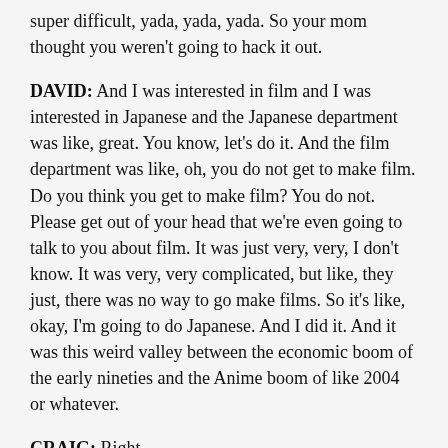super difficult, yada, yada, yada. So your mom thought you weren't going to hack it out.
DAVID: And I was interested in film and I was interested in Japanese and the Japanese department was like, great. You know, let's do it. And the film department was like, oh, you do not get to make film. Do you think you get to make film? You do not. Please get out of your head that we're even going to talk to you about film. It was just very, very, I don't know. It was very, very complicated, but like, they just, there was no way to go make films. So it's like, okay, I'm going to do Japanese. And I did it. And it was this weird valley between the economic boom of the early nineties and the Anime boom of like 2004 or whatever.
CRAIG: Right.